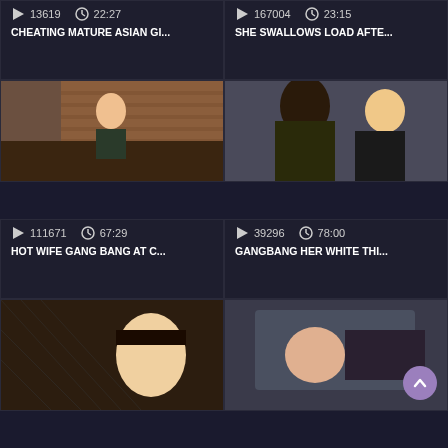13619  22:27  CHEATING MATURE ASIAN GI...
167004  23:15  SHE SWALLOWS LOAD AFTE...
[Figure (photo): Woman at bar with brick wall background]
[Figure (photo): Two people, blonde woman]
111671  67:29  HOT WIFE GANG BANG AT C...
39296  78:00  GANGBANG HER WHITE THI...
[Figure (photo): Woman in fishnet]
[Figure (photo): Asian woman close up]